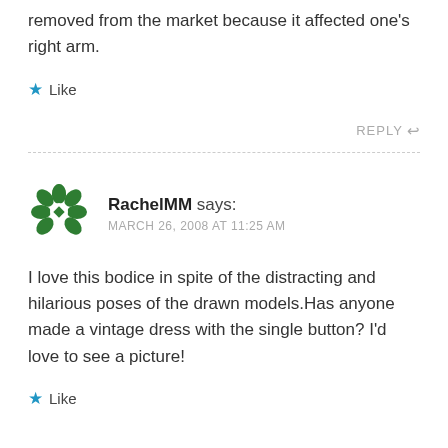removed from the market because it affected one's right arm.
Like
REPLY
RachelMM says:
MARCH 26, 2008 AT 11:25 AM
I love this bodice in spite of the distracting and hilarious poses of the drawn models.Has anyone made a vintage dress with the single button? I'd love to see a picture!
Like